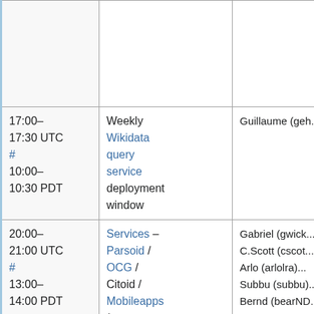| Time | Description | Who |
| --- | --- | --- |
|  |  |  |
| 17:00–17:30 UTC
#
10:00–10:30 PDT | Weekly Wikidata query service deployment window | Guillaume (geh... |
| 20:00–21:00 UTC
#
13:00–14:00 PDT | Services – Parsoid / OCG / Citoid / Mobileapps / .... | Gabriel (gwick... C.Scott (cscot... Arlo (arlolra)... Subbu (subbu)... Bernd (bearND... Michael ({{ircni ck|mdholloway}... |
| 23:00–00:00 UTC | Evening SWAT | Roan (RoanKattouw... Chad (ostric... |